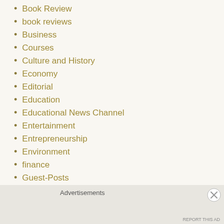Book Review
book reviews
Business
Courses
Culture and History
Economy
Editorial
Education
Educational News Channel
Entertainment
Entrepreneurship
Environment
finance
Guest-Posts
Health
India
Jobs
Advertisements